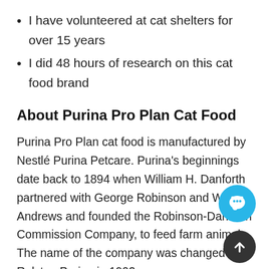I have volunteered at cat shelters for over 15 years
I did 48 hours of research on this cat food brand
About Purina Pro Plan Cat Food
Purina Pro Plan cat food is manufactured by Nestlé Purina Petcare. Purina's beginnings date back to 1894 when William H. Danforth partnered with George Robinson and William Andrews and founded the Robinson-Danforth Commission Company, to feed farm animals. The name of the company was changed to Ralston Purina in 1902.
Purina established the first pet nutrition and care